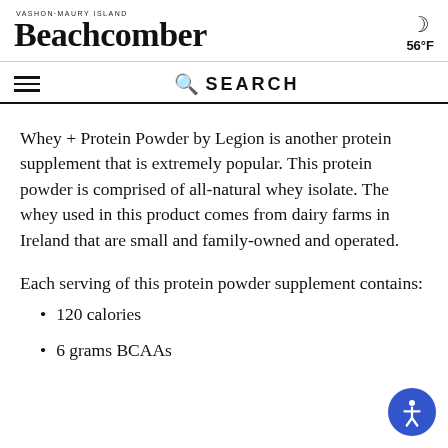Vashon-Maury Island BEACHCOMBER — 56°F
Whey + Protein Powder by Legion is another protein supplement that is extremely popular. This protein powder is comprised of all-natural whey isolate. The whey used in this product comes from dairy farms in Ireland that are small and family-owned and operated.
Each serving of this protein powder supplement contains:
120 calories
6 grams BCAAs